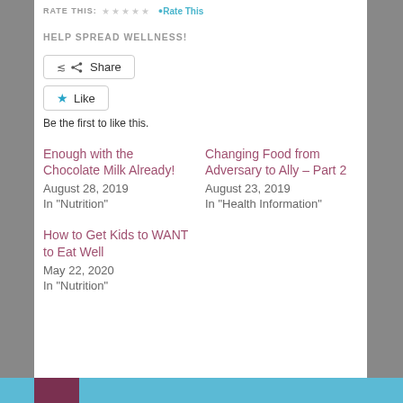RATE THIS: ★ ★ ★ ★ ★ Rate This
HELP SPREAD WELLNESS!
Share
Like
Be the first to like this.
Enough with the Chocolate Milk Already!
August 28, 2019
In "Nutrition"
Changing Food from Adversary to Ally – Part 2
August 23, 2019
In "Health Information"
How to Get Kids to WANT to Eat Well
May 22, 2020
In "Nutrition"